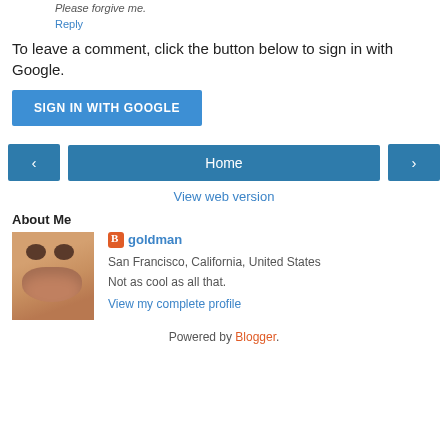Please forgive me.
Reply
To leave a comment, click the button below to sign in with Google.
SIGN IN WITH GOOGLE
Home
View web version
About Me
[Figure (photo): Close-up photo of a person's nose and eyes]
goldman
San Francisco, California, United States
Not as cool as all that.
View my complete profile
Powered by Blogger.